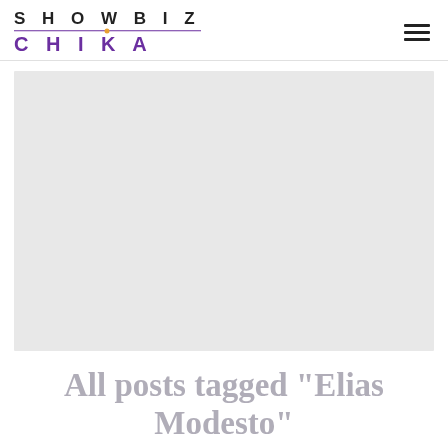SHOWBIZ CHIKA
[Figure (photo): Large light gray placeholder image area]
All posts tagged "Elias Modesto"